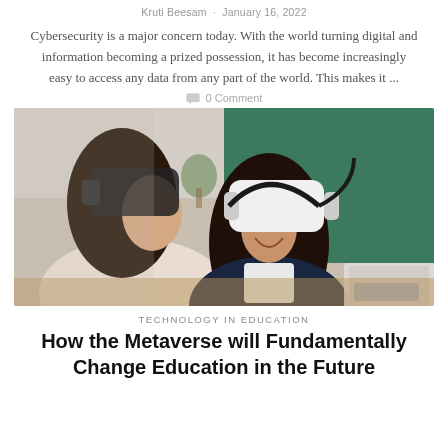Kruti Beesam · January 16, 2022
Cybersecurity is a major concern today. With the world turning digital and information becoming a prized possession, it has become increasingly easy to access any data from any part of the world. This makes it ...
0 Comment
[Figure (photo): Two schoolgirls wearing VR headsets in a classroom with a green chalkboard in the background. One girl is laughing and looking up while wearing a white VR headset; another girl in the foreground is wearing a dark VR headset. Laptops are visible on the desk.]
TECHNOLOGY IN EDUCATION
How the Metaverse will Fundamentally Change Education in the Future